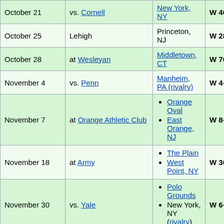| Date | Opponent | Location | Result | Attendance |
| --- | --- | --- | --- | --- |
| October 21 | vs. Cornell | New York, NY | W 46–0 |  |
| October 25 | Lehigh | Princeton, NJ | W 28–6 |  |
| October 28 | at Wesleyan | Middletown, CT | W 76–0 |  |
| November 4 | vs. Penn | Manheim, PA (rivalry) | W 4–0 |  |
| November 7 | at Orange Athletic Club | Orange Oval / East Orange, NJ | W 8–0 | 3,5… |
| November 18 | at Army | The Plain / West Point, NY | W 36–4 |  |
| November 30 | vs. Yale | Polo Grounds / New York, NY (rivalry) | W 6–0 |  |